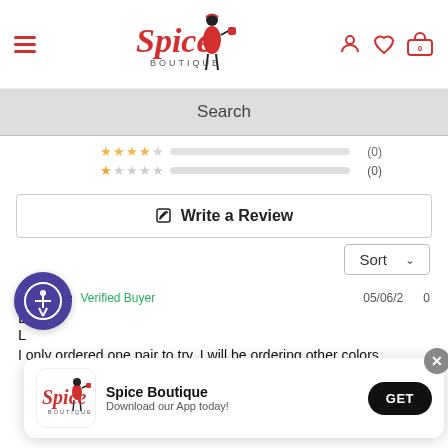[Figure (logo): Spice Boutique logo with stylized woman figure and red text]
[Figure (infographic): Navigation icons: hamburger menu, user icon, heart/wishlist, shopping bag with 0]
Search
[Figure (infographic): Star rating rows: 4-star row with bar and (0), 1-star row with bar and (0)]
✎  Write a Review
Sort
Candice  Verified Buyer  05/06/2020
L
L
I only ordered one pair to try, I will be ordering other colors.
[Figure (logo): Accessibility icon - circular purple button with person icon]
[Figure (infographic): App download banner: Spice Boutique logo, text 'Spice Boutique Download our App today!', GET button, close X]
Spice Boutique
Download our App today!
GET